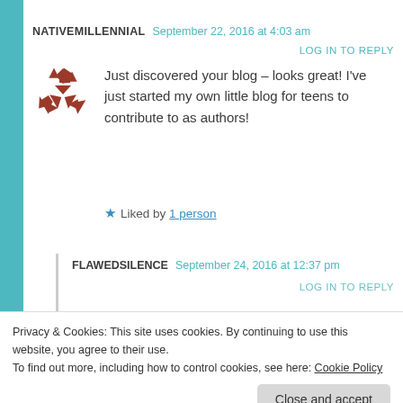NATIVEMILLENNIAL   September 22, 2016 at 4:03 am
LOG IN TO REPLY
Just discovered your blog – looks great! I've just started my own little blog for teens to contribute to as authors!
★ Liked by 1 person
FLAWEDSILENCE   September 24, 2016 at 12:37 pm
LOG IN TO REPLY
Privacy & Cookies: This site uses cookies. By continuing to use this website, you agree to their use.
To find out more, including how to control cookies, see here: Cookie Policy
Close and accept